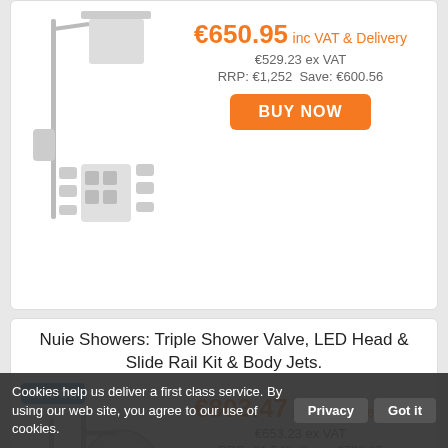[Figure (photo): Shower system product image - top card partial]
€650.95 inc VAT & Delivery
€529.23 ex VAT
RRP: €1,252  Save: €600.56
BUY NOW
Nuie Showers: Triple Shower Valve, LED Head & Slide Rail Kit & Body Jets.
48% Off
[Figure (photo): Nuie shower system with LED head, slide rail, body jets and triple valve]
€803.47 inc VAT & Delivery
€653.23 ex VAT
RRP: €1,542  Save: €738.25
BUY NOW
Nuie Showers: Triple Shower Valve, LED Head & Slide Rail Kit & Body Jets.
Cookies help us deliver a first class service. By using our web site, you agree to our use of cookies.
Privacy
Got it